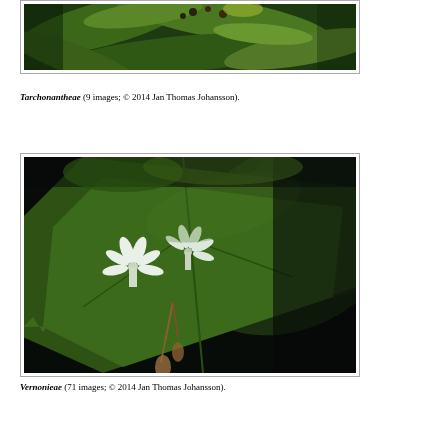[Figure (photo): Close-up photograph of green plant leaves and small flowers or buds, likely Tarchonantheae species]
Tarchonantheae (9 images; © 2014 Jan Thomas Johansson).
[Figure (photo): Close-up photograph of white small flowers on a green serrated leaf, likely Vernonieae species, dark background]
Vernonieae (71 images; © 2014 Jan Thomas Johansson).